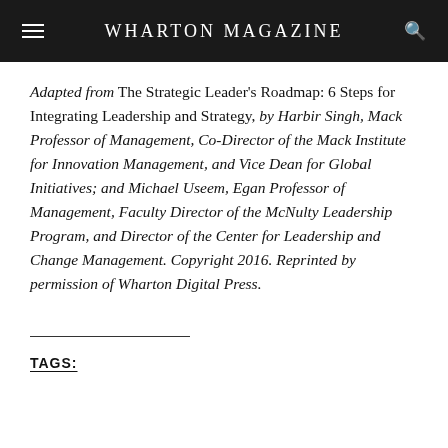WHARTON MAGAZINE
Adapted from The Strategic Leader's Roadmap: 6 Steps for Integrating Leadership and Strategy, by Harbir Singh, Mack Professor of Management, Co-Director of the Mack Institute for Innovation Management, and Vice Dean for Global Initiatives; and Michael Useem, Egan Professor of Management, Faculty Director of the McNulty Leadership Program, and Director of the Center for Leadership and Change Management. Copyright 2016. Reprinted by permission of Wharton Digital Press.
TAGS: